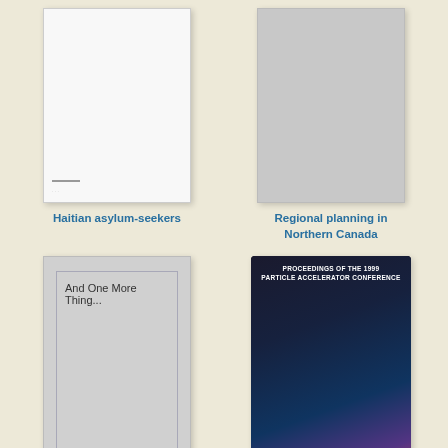[Figure (illustration): Book cover thumbnail for 'Haitian asylum-seekers' - mostly white/blank cover with faint markings at bottom]
Haitian asylum-seekers
[Figure (illustration): Book cover thumbnail for 'Regional planning in Northern Canada' - plain gray cover]
Regional planning in Northern Canada
[Figure (illustration): Book cover for 'And One More Thing...' - gray cover with inner border and title text 'And One More Thing...']
And One More Thing...
[Figure (photo): Book cover for 'Proceedings of the 1999 Particle Accelerator Conference' - dark dramatic aerial/particle image with white bold title text at top]
Proceedings of the 1999 Particle Accelerator Conference